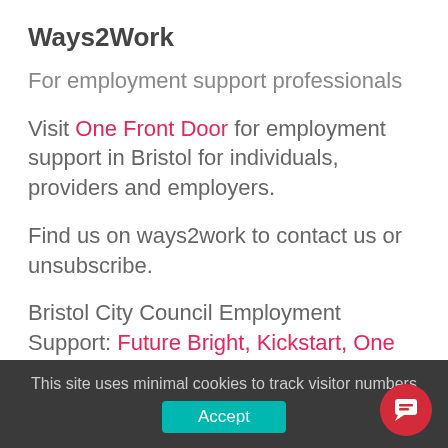Ways2Work
For employment support professionals
Visit One Front Door for employment support in Bristol for individuals, providers and employers.
Find us on ways2work to contact us or unsubscribe.
Bristol City Council Employment Support: Future Bright, Kickstart, One Front Door, Ways2Work, We Work for Everyone.
You have received this email from the daily
This site uses minimal cookies to track visitor numbers  Accept